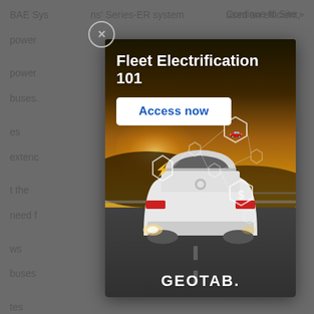BAE Systems' Series-ER system used an efficient power ... power buses. ... es extended ... t the need f... ws buses ... tes the ne... infrast...
Continue to Site »
[Figure (illustration): Modal advertisement for 'Fleet Electrification 101' by GEOTAB. Shows a white electric SUV from the rear driving on a road at sunset, with hexagonal icons representing charging, vehicle, and cost. Has an 'Access now' button and GEOTAB branding at the bottom.]
Origina...
Read...
cloud...
fuel n... ogy